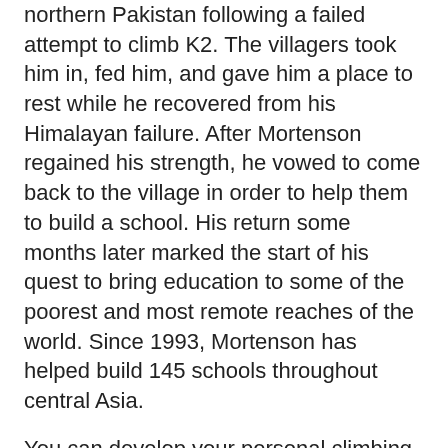northern Pakistan following a failed attempt to climb K2. The villagers took him in, fed him, and gave him a place to rest while he recovered from his Himalayan failure. After Mortenson regained his strength, he vowed to come back to the village in order to help them to build a school. His return some months later marked the start of his quest to bring education to some of the poorest and most remote reaches of the world. Since 1993, Mortenson has helped build 145 schools throughout central Asia.
You can develop your personal climbing skills, your avalanche awareness skills and help us to benefit this important cause by participating in our International Mountain Day events.
You can now register online by clicking here. Registration is optional, but space is limited and those who register will be given priority.
Rock Rescue Clinics  We will be offering four two-hour rock rescue clinics at the YMCA climbing wall in downtown Bellingham. The clinics